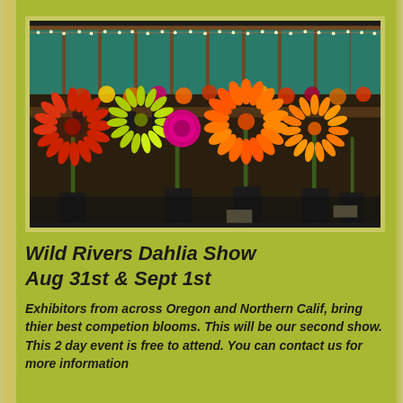[Figure (photo): Indoor dahlia flower show displaying large colorful dahlia blooms in red, orange, yellow and magenta on stems in dark containers on tables, with teal curtains and string lights in the background.]
Wild Rivers Dahlia Show
Aug 31st & Sept 1st
Exhibitors from across Oregon and Northern Calif, bring thier best competion blooms. This will be our second show. This 2 day event is free to attend. You can contact us for more information